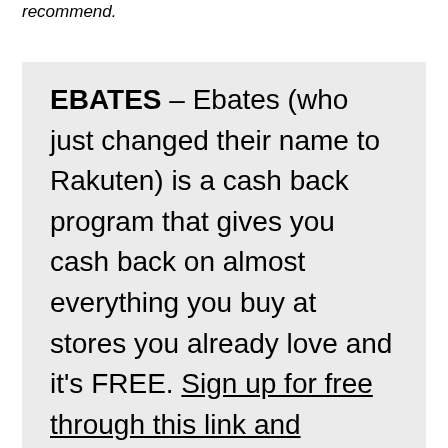recommend.
EBATES – Ebates (who just changed their name to Rakuten) is a cash back program that gives you cash back on almost everything you buy at stores you already love and it's FREE. Sign up for free through this link and